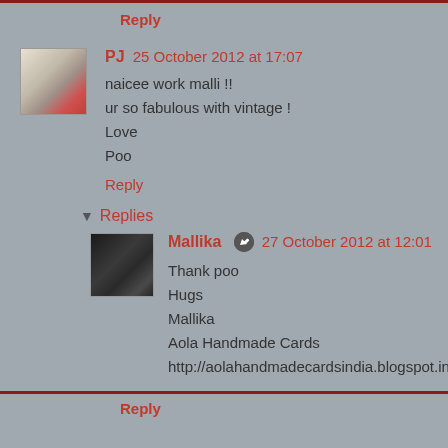Reply
PJ 25 October 2012 at 17:07
naicee work malli !!
ur so fabulous with vintage !
Love
Poo
Reply
Replies
Mallika 27 October 2012 at 12:01
Thank poo
Hugs
Mallika
Aola Handmade Cards
http://aolahandmadecardsindia.blogspot.in/
Reply